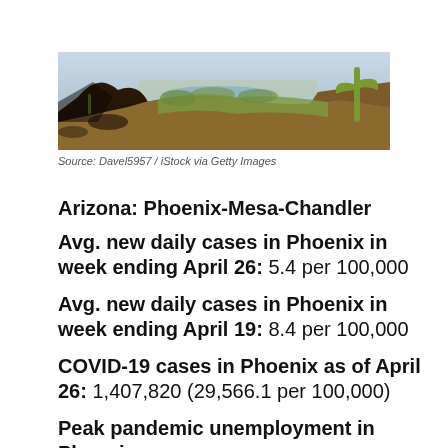[Figure (photo): Aerial landscape photo of Phoenix/Scottsdale Arizona area showing desert terrain with saguaro cactus, rocky hills, and city visible in background]
Source: Davel5957 / iStock via Getty Images
Arizona: Phoenix-Mesa-Chandler
Avg. new daily cases in Phoenix in week ending April 26: 5.4 per 100,000
Avg. new daily cases in Phoenix in week ending April 19: 8.4 per 100,000
COVID-19 cases in Phoenix as of April 26: 1,407,820 (29,566.1 per 100,000)
Peak pandemic unemployment in Phoenix: